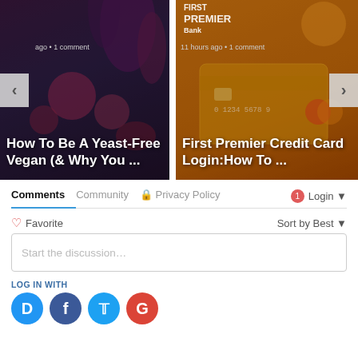[Figure (screenshot): Slideshow card left: article thumbnail with dark background showing vegetables, title 'How To Be A Yeast-Free Vegan (& Why You ...' with navigation arrow and comment meta]
[Figure (screenshot): Slideshow card right: article thumbnail with orange background showing First Premier Bank credit card, title 'First Premier Credit Card Login:How To ...' with navigation arrow and comment meta]
Comments   Community   Privacy Policy   1   Login
Favorite   Sort by Best
Start the discussion…
LOG IN WITH
[Figure (logo): Social login icons: Disqus (blue D), Facebook (dark blue f), Twitter (light blue bird), Google (red G)]